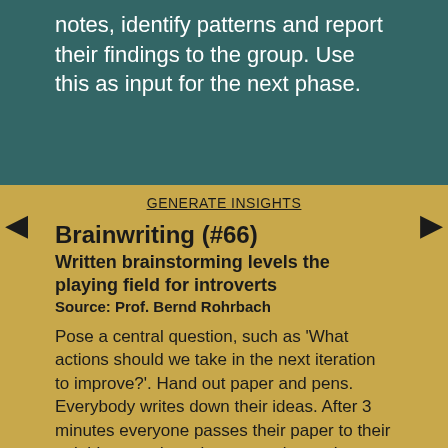notes, identify patterns and report their findings to the group. Use this as input for the next phase.
GENERATE INSIGHTS
Brainwriting (#66)
Written brainstorming levels the playing field for introverts
Source: Prof. Bernd Rohrbach
Pose a central question, such as 'What actions should we take in the next iteration to improve?'. Hand out paper and pens. Everybody writes down their ideas. After 3 minutes everyone passes their paper to their neighbour and continues to write on the one they've gotten. As soon as they run out of ideas, they can read the ideas that are already on the paper and extend them. Rules: No negative comments and everyone writes their ideas down only once. (If several people write